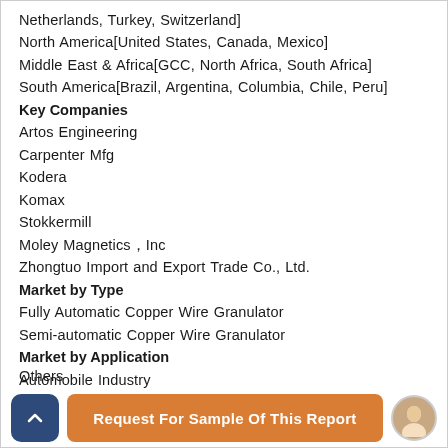Netherlands, Turkey, Switzerland]
North America[United States, Canada, Mexico]
Middle East & Africa[GCC, North Africa, South Africa]
South America[Brazil, Argentina, Columbia, Chile, Peru]
Key Companies
Artos Engineering
Carpenter Mfg
Kodera
Komax
Stokkermill
Moley Magnetics，Inc
Zhongtuo Import and Export Trade Co., Ltd.
Market by Type
Fully Automatic Copper Wire Granulator
Semi-automatic Copper Wire Granulator
Market by Application
Automobile Industry
Consumer Electronics
Others